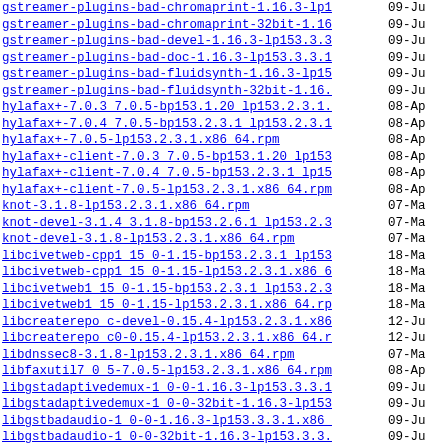gstreamer-plugins-bad-chromaprint-1.16.3-lp153...> 09-Ju
gstreamer-plugins-bad-chromaprint-32bit-1.16.3-..> 09-Ju
gstreamer-plugins-bad-devel-1.16.3-lp153.3.3.1...> 09-Ju
gstreamer-plugins-bad-doc-1.16.3-lp153.3.3.1.x8..> 09-Ju
gstreamer-plugins-bad-fluidsynth-1.16.3-lp153.3..> 09-Ju
gstreamer-plugins-bad-fluidsynth-32bit-1.16.3-1..> 09-Ju
hylafax+-7.0.3 7.0.5-bp153.1.20 lp153.2.3.1.x86..> 08-Ap
hylafax+-7.0.4 7.0.5-bp153.2.3.1 lp153.2.3.1.x8..> 08-Ap
hylafax+-7.0.5-lp153.2.3.1.x86_64.rpm 08-Ap
hylafax+-client-7.0.3 7.0.5-bp153.1.20 lp153.2...> 08-Ap
hylafax+-client-7.0.4 7.0.5-bp153.2.3.1 lp153.2...> 08-Ap
hylafax+-client-7.0.5-lp153.2.3.1.x86_64.rpm 08-Ap
knot-3.1.8-lp153.2.3.1.x86_64.rpm 07-Ma
knot-devel-3.1.4 3.1.8-bp153.2.6.1 lp153.2.3.1...> 07-Ma
knot-devel-3.1.8-lp153.2.3.1.x86_64.rpm 07-Ma
libcivetweb-cpp1 15 0-1.15-bp153.2.3.1 lp153.2...> 18-Ma
libcivetweb-cpp1 15 0-1.15-lp153.2.3.1.x86_64.rpm 18-Ma
libcivetweb1 15 0-1.15-bp153.2.3.1 lp153.2.3.1...> 18-Ma
libcivetweb1 15 0-1.15-lp153.2.3.1.x86_64.rpm 18-Ma
libcreaterepo_c-devel-0.15.4-lp153.2.3.1.x86_64..> 12-Ju
libcreaterepo_c0-0.15.4-lp153.2.3.1.x86_64.rpm 12-Ju
libdnssec8-3.1.8-lp153.2.3.1.x86_64.rpm 07-Ma
libfaxutil7_0_5-7.0.5-lp153.2.3.1.x86_64.rpm 08-Ap
libgstadaptivedemux-1_0-0-1.16.3-lp153.3.3.1.x8..> 09-Ju
libgstadaptivedemux-1_0-0-32bit-1.16.3-lp153.3....> 09-Ju
libgstbadaudio-1_0-0-1.16.3-lp153.3.3.1.x86_64.rpm 09-Ju
libgstbadaudio-1_0-0-32bit-1.16.3-lp153.3.3.1.x..> 09-Ju
libgstbasecamerabinsrc-1_0-0-1.16.3-lp153.3.3.1..> 09-Ju
libgstbasecamerabinsrc-1_0-0-32bit-1.16.3-lp153...> 09-Ju
libgstcodecparsers-1_0-0-1.16.3-lp153.3.3.1.x86..> 09-Ju
libgstcodecparsers-1_0-0-32bit-1.16.3-lp153.3.3...> 09-Ju